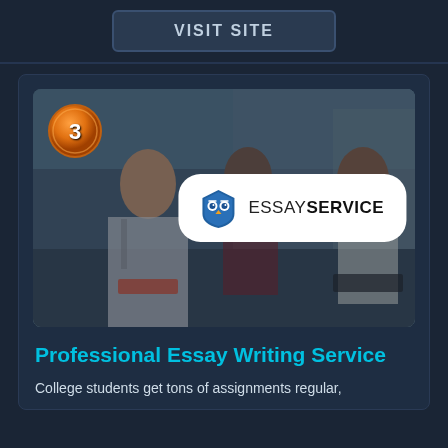VISIT SITE
[Figure (photo): Photo of college students sitting together outdoors reading books, with EssayService logo overlay and bronze '3' ranking badge]
Professional Essay Writing Service
College students get tons of assignments regular,